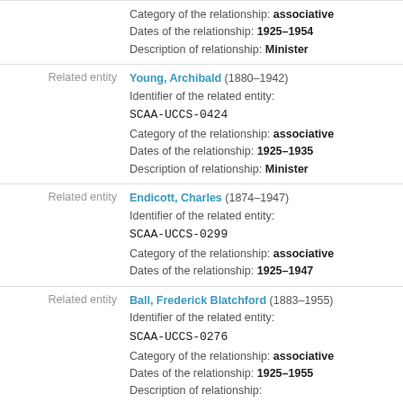Category of the relationship: associative
Dates of the relationship: 1925–1954
Description of relationship: Minister
Related entity: Young, Archibald (1880–1942)
Identifier of the related entity: SCAA-UCCS-0424
Category of the relationship: associative
Dates of the relationship: 1925–1935
Description of relationship: Minister
Related entity: Endicott, Charles (1874–1947)
Identifier of the related entity: SCAA-UCCS-0299
Category of the relationship: associative
Dates of the relationship: 1925–1947
Related entity: Ball, Frederick Blatchford (1883–1955)
Identifier of the related entity: SCAA-UCCS-0276
Category of the relationship: associative
Dates of the relationship: 1925–1955
Description of relationship: Minister (retired 1955)
Related entity: Belton, Alfred James (1870–1947)